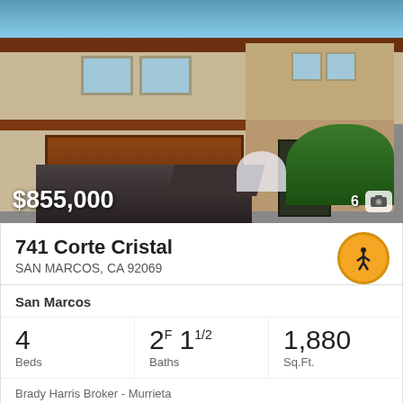[Figure (photo): Exterior photo of a two-story stucco house with tile roof, brown garage door, and landscaping. Price overlay shows $855,000 and photo count of 6.]
741 Corte Cristal
SAN MARCOS, CA 92069
San Marcos
| Beds | Baths | Sq.Ft. |
| --- | --- | --- |
| 4 | 2F 1 1/2 | 1,880 |
Brady Harris Broker - Murrieta
[Figure (photo): Partial view of a second real estate listing with purple/pink sunset sky background, showing Pending badge and heart icon.]